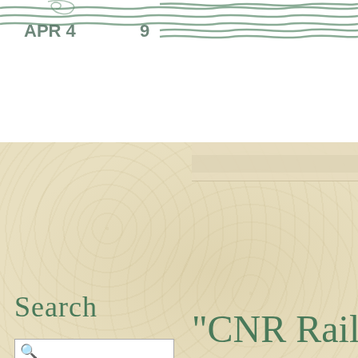[Figure (photo): Postmark stamp at top of page showing 'APR 4' and '9' with wavy green cancellation lines on white background]
[Figure (screenshot): Web interface screenshot showing a search panel on beige/tan decorative background with 'Search' in cursive, a search input field with magnifying glass icon, 'All Fields' dropdown, Search button, Start Over button on the left side. Right side shows cursive text reading '"CNR Rail... Sask."' and image navigation controls showing 'Image 1 of 2. Next <-Rotate' with a bullet point below.]